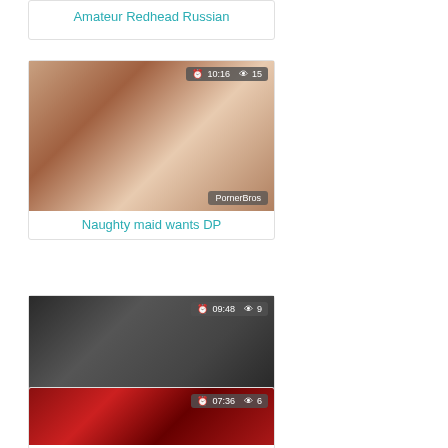Amateur Redhead Russian
[Figure (screenshot): Video thumbnail for 'Naughty maid wants DP', duration 10:16, 15 views, PornerBros watermark]
Naughty maid wants DP
[Figure (screenshot): Video thumbnail for 'Hot Russian babe fucked in', duration 09:48, 9 views, PornerBros watermark, porndoepremium.com/fuc...]
Hot Russian babe fucked in
[Figure (screenshot): Video thumbnail partial, duration 07:36, 6 views]